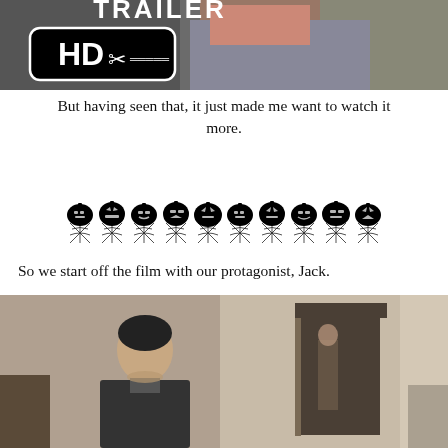[Figure (screenshot): Movie trailer thumbnail showing HD logo with scissors icon and an older man in a grey sweater holding a glass]
But having seen that, it just made me want to watch it more.
[Figure (illustration): Decorative Halloween divider with jack-o-lanterns and spider webs]
So we start off the film with our protagonist, Jack.
[Figure (screenshot): Film still showing a dark-haired man looking down, with another figure visible in a doorway behind him]